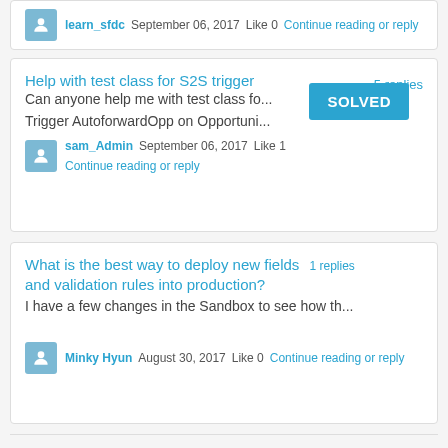learn_sfdc  September 06, 2017  Like 0  Continue reading or reply
Help with test class for S2S trigger
Can anyone help me with test class fo...
SOLVED
5 replies
Trigger AutoforwardOpp on Opportuni...
sam_Admin  September 06, 2017  Like 1  Continue reading or reply
What is the best way to deploy new fields and validation rules into production?
1 replies
I have a few changes in the Sandbox to see how th...
Minky Hyun  August 30, 2017  Like 0  Continue reading or reply